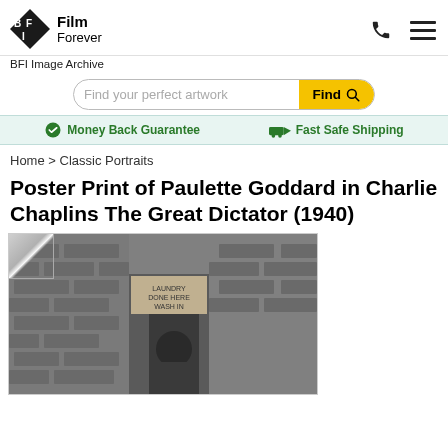BFI Film Forever — BFI Image Archive
Find your perfect artwork
Money Back Guarantee   Fast Safe Shipping
Home > Classic Portraits
Poster Print of Paulette Goddard in Charlie Chaplins The Great Dictator (1940)
[Figure (photo): Black and white photo of Paulette Goddard standing in front of a brick wall with a sign reading 'LAUNDRY DONE HERE HOUSE WASH IN', with a poster curl effect in top-left corner]